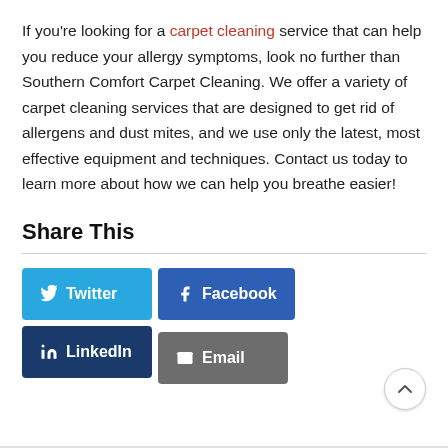If you're looking for a carpet cleaning service that can help you reduce your allergy symptoms, look no further than Southern Comfort Carpet Cleaning. We offer a variety of carpet cleaning services that are designed to get rid of allergens and dust mites, and we use only the latest, most effective equipment and techniques. Contact us today to learn more about how we can help you breathe easier!
Share This
[Figure (infographic): Social share buttons: Twitter (light blue), Facebook (blue), LinkedIn (dark blue), Email (gray)]